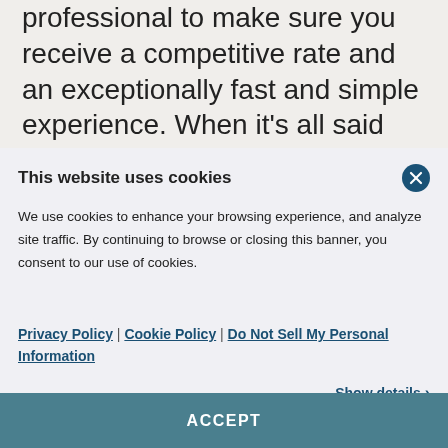professional to make sure you receive a competitive rate and an exceptionally fast and simple experience. When it's all said and done, we strive to be your mortgage lender of choice for years to come, wherever life takes you.
This website uses cookies
We use cookies to enhance your browsing experience, and analyze site traffic. By continuing to browse or closing this banner, you consent to our use of cookies.
Privacy Policy | Cookie Policy | Do Not Sell My Personal Information
Show details >
ACCEPT